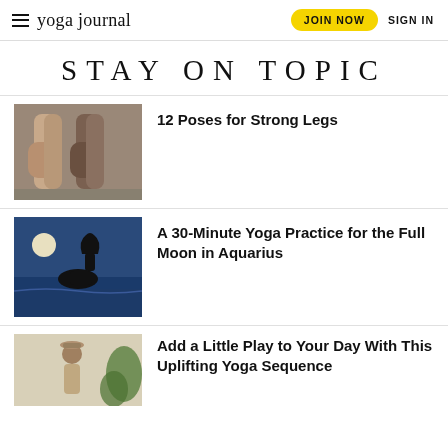yoga journal | JOIN NOW | SIGN IN
STAY ON TOPIC
[Figure (photo): Close-up of two pairs of legs (knees) standing together against a gray background]
12 Poses for Strong Legs
[Figure (photo): Silhouette of a person in a yoga pose with arms raised, sitting by the ocean with a full moon in the blue sky]
A 30-Minute Yoga Practice for the Full Moon in Aquarius
[Figure (photo): Person balancing a bowl on their head, with plants in the background]
Add a Little Play to Your Day With This Uplifting Yoga Sequence